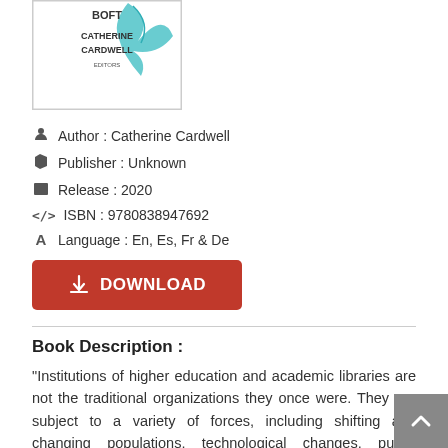[Figure (illustration): Book cover thumbnail showing partial text 'BOFT', 'CATHERINE CARDWELL', 'EDITORS' with a teal bird/feather graphic element, inside a bordered rectangle]
Author : Catherine Cardwell
Publisher : Unknown
Release : 2020
ISBN : 9780838947692
Language : En, Es, Fr & De
[Figure (other): Red DOWNLOAD button with download arrow icon]
Book Description :
"Institutions of higher education and academic libraries are not the traditional organizations they once were. They are subject to a variety of forces, including shifting and changing populations, technological changes, public demands for affordability and accountability and